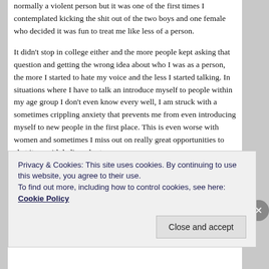normally a violent person but it was one of the first times I contemplated kicking the shit out of the two boys and one female who decided it was fun to treat me like less of a person.
It didn't stop in college either and the more people kept asking that question and getting the wrong idea about who I was as a person, the more I started to hate my voice and the less I started talking. In situations where I have to talk an introduce myself to people within my age group I don't even know every well, I am struck with a sometimes crippling anxiety that prevents me from even introducing myself to new people in the first place. This is even worse with women and sometimes I miss out on really great opportunities to chat it up with ladies who turn
Privacy & Cookies: This site uses cookies. By continuing to use this website, you agree to their use.
To find out more, including how to control cookies, see here: Cookie Policy